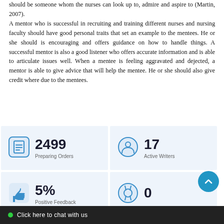should be someone whom the nurses can look up to, admire and aspire to (Martin, 2007). A mentor who is successful in recruiting and training different nurses and nursing faculty should have good personal traits that set an example to the mentees. He or she should is encouraging and offers guidance on how to handle things. A successful mentor is also a good listener who offers accurate information and is able to articulate issues well. When a mentee is feeling aggravated and dejected, a mentor is able to give advice that will help the mentee. He or she should also give credit where due to the mentees.
[Figure (infographic): Stat card showing 2499 Preparing Orders with a document icon]
[Figure (infographic): Stat card showing 17 Active Writers with a person icon]
[Figure (infographic): Stat card showing 5% Positive Feedback with a thumbs up icon]
[Figure (infographic): Stat card showing 0 with a lifebuoy icon]
Click here to chat with us